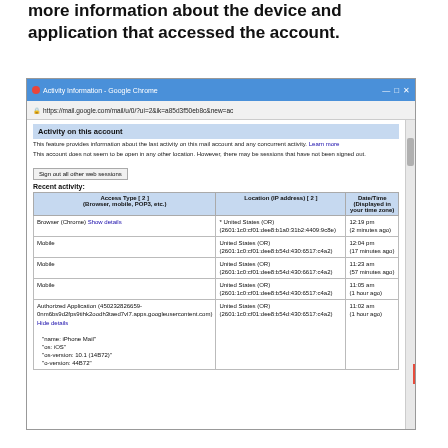more information about the device and application that accessed the account.
[Figure (screenshot): Google Chrome browser window showing Gmail Activity Information page with a table of recent account activity including access type, location (IP address), and date/time columns. Rows include Browser (Chrome), Mobile, and Authorized Application entries with United States (OR) locations.]